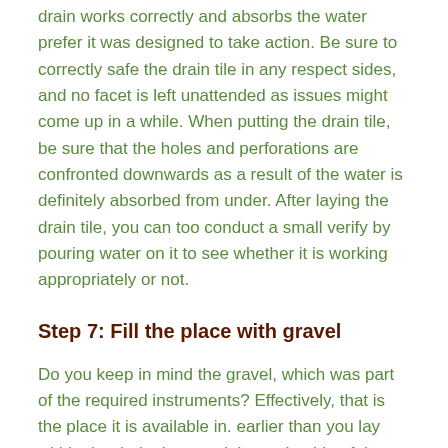drain works correctly and absorbs the water prefer it was designed to take action. Be sure to correctly safe the drain tile in any respect sides, and no facet is left unattended as issues might come up in a while. When putting the drain tile, be sure that the holes and perforations are confronted downwards as a result of the water is definitely absorbed from under. After laying the drain tile, you can too conduct a small verify by pouring water on it to see whether it is working appropriately or not.
Step 7: Fill the place with gravel
Do you keep in mind the gravel, which was part of the required instruments? Effectively, that is the place it is available in. earlier than you lay within the drainpipe, cowl the underside of the ditch with about 1 to 2 inches of gravel. If you pour in gravel, the gravel will guarantee a simple